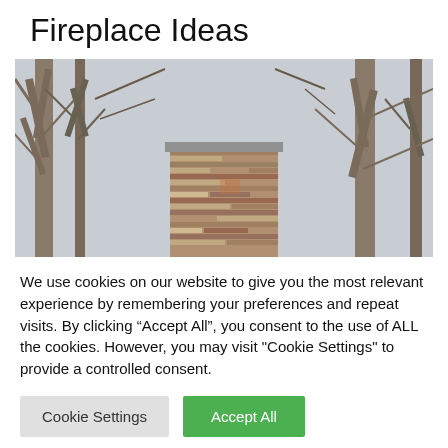Fireplace Ideas
[Figure (photo): Outdoor stone chimney/fireplace pillar made of stacked layered stone bricks, photographed from below against a background of bare winter trees with grey sky.]
We use cookies on our website to give you the most relevant experience by remembering your preferences and repeat visits. By clicking “Accept All”, you consent to the use of ALL the cookies. However, you may visit "Cookie Settings" to provide a controlled consent.
Cookie Settings | Accept All